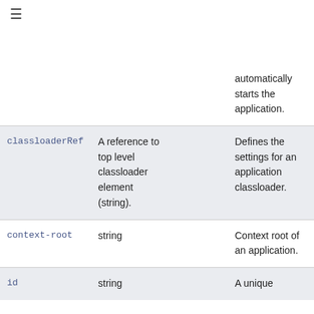☰
|  |  |  |  |
| --- | --- | --- | --- |
|  |  |  | automatically starts the application. |
| classloaderRef | A reference to top level classloader element (string). |  | Defines the settings for an application classloader. |
| context-root | string |  | Context root of an application. |
| id | string |  | A unique |